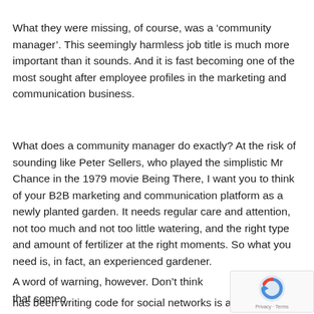What they were missing, of course, was a ‘community manager’. This seemingly harmless job title is much more important than it sounds. And it is fast becoming one of the most sought after employee profiles in the marketing and communication business.
What does a community manager do exactly? At the risk of sounding like Peter Sellers, who played the simplistic Mr Chance in the 1979 movie Being There, I want you to think of your B2B marketing and communication platform as a newly planted garden. It needs regular care and attention, not too much and not too little watering, and the right type and amount of fertilizer at the right moments. So what you need is, in fact, an experienced gardener.
A word of warning, however. Don’t think that someo... has been writing code for social networks is able to fill the...